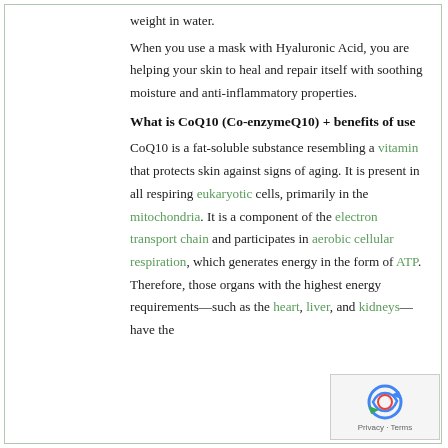weight in water.
When you use a mask with Hyaluronic Acid, you are helping your skin to heal and repair itself with soothing moisture and anti-inflammatory properties.
What is CoQ10 (Co-enzymeQ10) + benefits of use
CoQ10 is a fat-soluble substance resembling a vitamin that protects skin against signs of aging. It is present in all respiring eukaryotic cells, primarily in the mitochondria. It is a component of the electron transport chain and participates in aerobic cellular respiration, which generates energy in the form of ATP. Therefore, those organs with the highest energy requirements—such as the heart, liver, and kidneys—have the